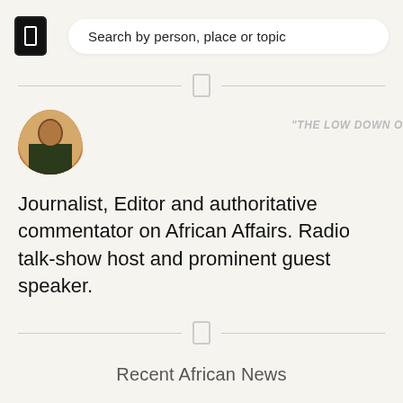Search by person, place or topic
[Figure (photo): Circular profile photo of a person seated in what appears to be a restaurant or cafe setting]
"THE LOW DOWN O
Journalist, Editor and authoritative commentator on African Affairs. Radio talk-show host and prominent guest speaker.
Recent African News